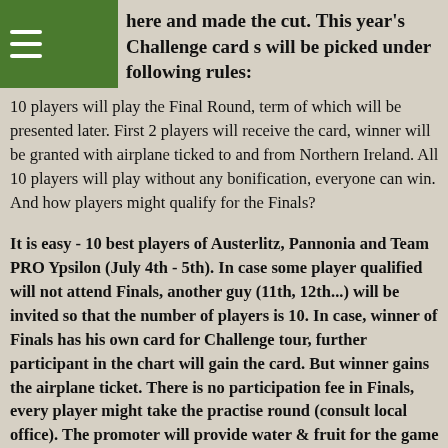here and made the cut. This year's Challenge card s will be picked under following rules:
10 players will play the Final Round, term of which will be presented later. First 2 players will receive the card, winner will be granted with airplane ticked to and from Northern Ireland. All 10 players will play without any bonification, everyone can win. And how players might qualify for the Finals?
It is easy - 10 best players of Austerlitz, Pannonia and Team PRO Ypsilon (July 4th - 5th). In case some player qualified will not attend Finals, another guy (11th, 12th...) will be invited so that the number of players is 10. In case, winner of Finals has his own card for Challenge tour, further participant in the chart will gain the card. But winner gains the airplane ticket. There is no participation fee in Finals, every player might take the practise round (consult local office). The promoter will provide water & fruit for the game as well as free DR during tournament day.